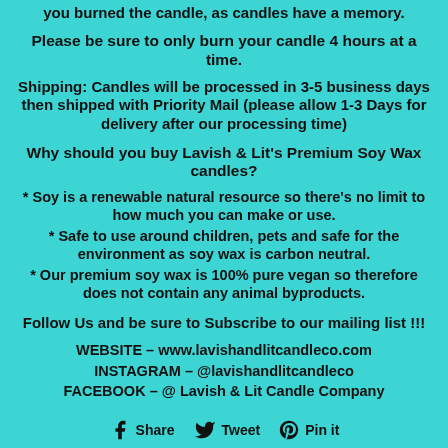you burned the candle, as candles have a memory.
Please be sure to only burn your candle 4 hours at a time.
Shipping: Candles will be processed in 3-5 business days then shipped with Priority Mail (please allow 1-3 Days for delivery after our processing time)
Why should you buy Lavish & Lit's Premium Soy Wax candles?
* Soy is a renewable natural resource so there's no limit to how much you can make or use.
* Safe to use around children, pets and safe for the environment as soy wax is carbon neutral.
* Our premium soy wax is 100% pure vegan so therefore does not contain any animal byproducts.
Follow Us and be sure to Subscribe to our mailing list !!!
WEBSITE - www.lavishandlitcandleco.com
INSTAGRAM - @lavishandlitcandleco
FACEBOOK - @ Lavish & Lit Candle Company
[Figure (infographic): Social share icons: Facebook Share, Twitter Tweet, Pinterest Pin it]